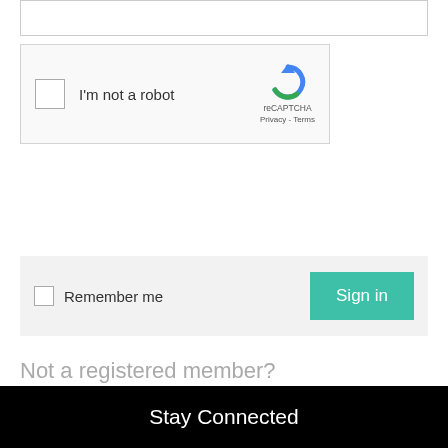[Figure (screenshot): reCAPTCHA widget with checkbox and 'I'm not a robot' text, with reCAPTCHA logo and Privacy/Terms links]
[Figure (screenshot): Remember me checkbox with Sign in button]
Not a registered member?
Creating a new account is easy and takes less than a minute.
Register for a new account
Stay Connected